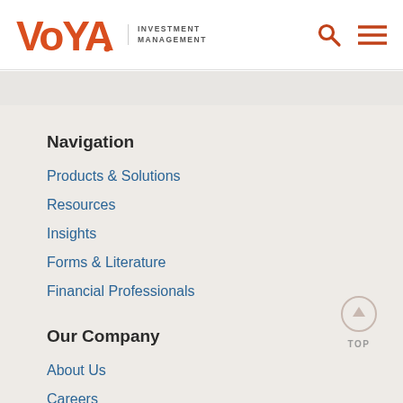[Figure (logo): Voya Investment Management logo with orange text and search/menu icons]
Navigation
Products & Solutions
Resources
Insights
Forms & Literature
Financial Professionals
Our Company
About Us
Careers
Contact Us